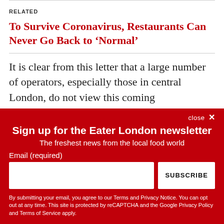RELATED
To Survive Coronavirus, Restaurants Can Never Go Back to ‘Normal’
It is clear from this letter that a large number of operators, especially those in central London, do not view this coming
Sign up for the Eater London newsletter
The freshest news from the local food world
Email (required)
SUBSCRIBE
By submitting your email, you agree to our Terms and Privacy Notice. You can opt out at any time. This site is protected by reCAPTCHA and the Google Privacy Policy and Terms of Service apply.